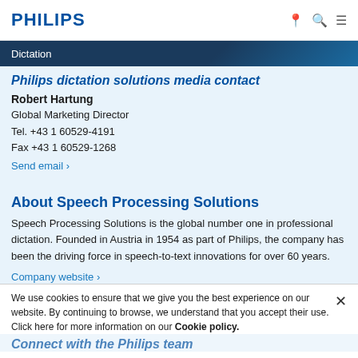PHILIPS
Dictation
Philips dictation solutions media contact
Robert Hartung
Global Marketing Director
Tel. +43 1 60529-4191
Fax +43 1 60529-1268
Send email ›
About Speech Processing Solutions
Speech Processing Solutions is the global number one in professional dictation. Founded in Austria in 1954 as part of Philips, the company has been the driving force in speech-to-text innovations for over 60 years.
Company website ›
We use cookies to ensure that we give you the best experience on our website. By continuing to browse, we understand that you accept their use. Click here for more information on our Cookie policy.